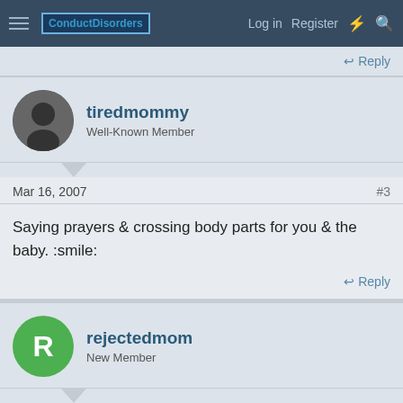ConductDisorders | Log in | Register
Reply
tiredmommy
Well-Known Member
Mar 16, 2007  #3
Saying prayers & crossing body parts for you & the baby. :smile:
Reply
rejectedmom
New Member
Mar 16, 2007  #4
Good luck Cass1! -RM :thumb: